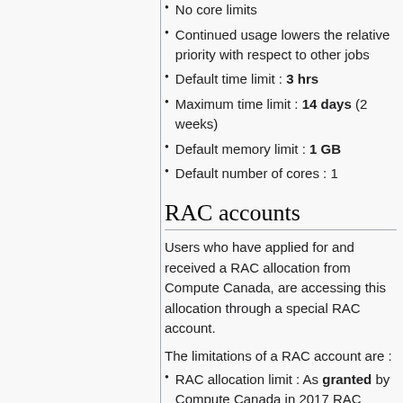No core limits
Continued usage lowers the relative priority with respect to other jobs
Default time limit : 3 hrs
Maximum time limit : 14 days (2 weeks)
Default memory limit : 1 GB
Default number of cores : 1
RAC accounts
Users who have applied for and received a RAC allocation from Compute Canada, are accessing this allocation through a special RAC account.
The limitations of a RAC account are :
RAC allocation limit : As granted by Compute Canada in 2017 RAC
Jobs are scheduled to the reserved partition